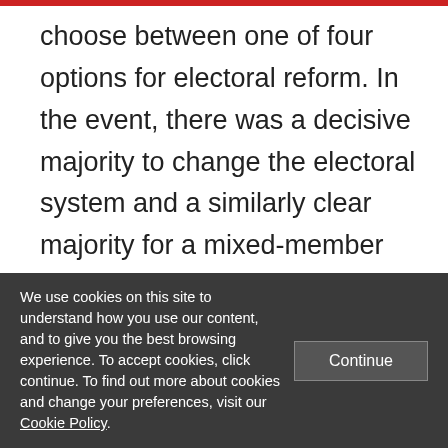choose between one of four options for electoral reform. In the event, there was a decisive majority to change the electoral system and a similarly clear majority for a mixed-member system of electoral reform (similar to the German model). At the second stage, held the following year, voters were asked to choose between the mixed-member system (as drafted by Parliament in
We use cookies on this site to understand how you use our content, and to give you the best browsing experience. To accept cookies, click continue. To find out more about cookies and change your preferences, visit our Cookie Policy.